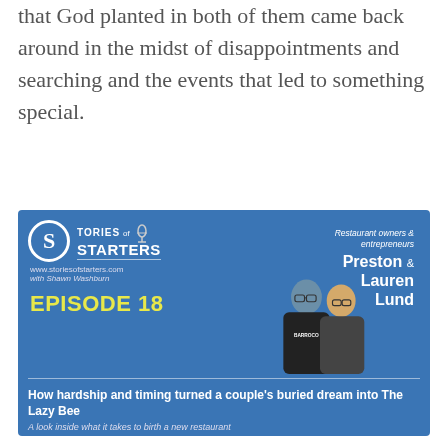that God planted in both of them came back around in the midst of disappointments and searching and the events that led to something special.
[Figure (other): Podcast episode card for 'Stories of Starters' Episode 18, featuring restaurant owners and entrepreneurs Preston & Lauren Lund. Blue background with show logo, microphone icon, website www.storiesofstarters.com with Shawn Washburn, episode title 'How hardship and timing turned a couple's buried dream into The Lazy Bee', subtitle 'A look inside what it takes to birth a new restaurant'.]
What made the episode extra special is not only that Preston and Lauren are